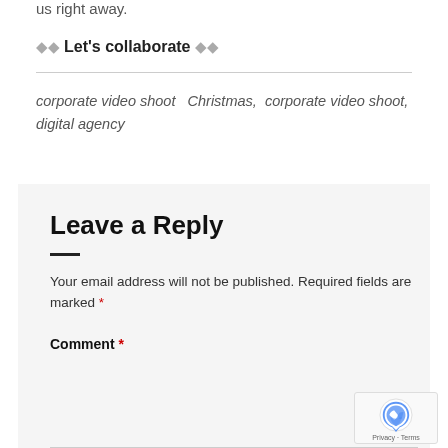us right away.
🔷🔷 Let's collaborate 🔷🔷
corporate video shoot   Christmas,  corporate video shoot,  digital agency
Leave a Reply
Your email address will not be published. Required fields are marked *
Comment *